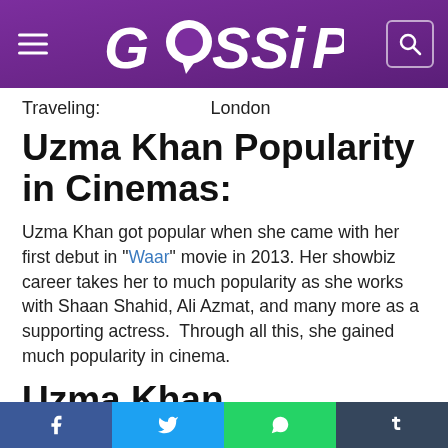GOSSIP
Traveling:    London
Uzma Khan Popularity in Cinemas:
Uzma Khan got popular when she came with her first debut in "Waar" movie in 2013. Her showbiz career takes her to much popularity as she works with Shaan Shahid, Ali Azmat, and many more as a supporting actress.  Through all this, she gained much popularity in cinema.
Uzma Khan Achievements:
This beautiful model made her name in the showbiz industry by her hard work. She gained fame and popularity in the
Facebook  Twitter  WhatsApp  Tumblr